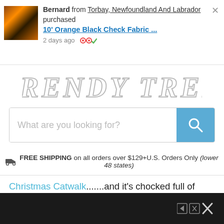[Figure (screenshot): Notification bar showing Bernard from Torbay, Newfoundland And Labrador purchased 10' Orange Black Check Fabric ... 2 days ago, with product thumbnail image and close button]
[Figure (logo): Trendy Tree logo text in gray outlined script font]
[Figure (screenshot): Search bar with placeholder text 'What are you looking for?' and blue search button with magnifying glass icon]
FREE SHIPPING on all orders over $129+U.S. Orders Only (lower 48 states)
Christmas Catwalk.......and it's chocked full of animal print goodies.......everything from balls with feathers or bows.....flocked package style ornaments.....high heeled shoe ornaments.....purse ornaments....hand mirror ornaments and even coat hanger ornament.......and we're still listing items! So be sure to check out the RAZ Christmas Catwalk......if animal print with bling is what you're looking for.